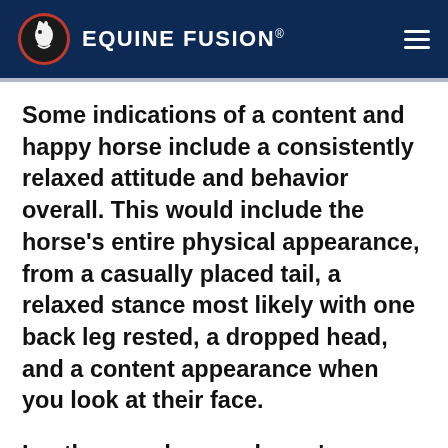EQUINE FUSION®
Some indications of a content and happy horse include a consistently relaxed attitude and behavior overall. This would include the horse's entire physical appearance, from a casually placed tail, a relaxed stance most likely with one back leg rested, a dropped head, and a content appearance when you look at their face.
In other words, your horse's en...